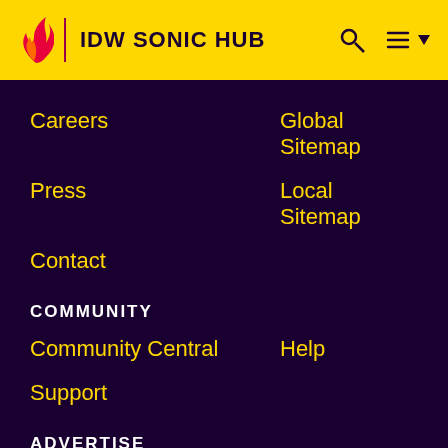IDW SONIC HUB
Careers
Global Sitemap
Press
Local Sitemap
Contact
COMMUNITY
Community Central
Help
Support
ADVERTISE
Media Kit
Fandomatic